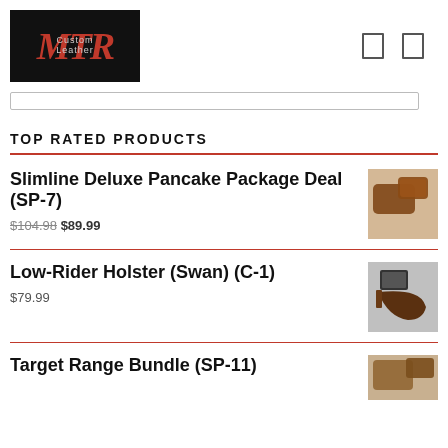[Figure (logo): MTR Custom Leather logo: black background with red italic MTR text and 'Custom Leather' subtitle]
TOP RATED PRODUCTS
Slimline Deluxe Pancake Package Deal (SP-7)
$104.98 $89.99
[Figure (photo): Photo of brown leather pancake holster set]
Low-Rider Holster (Swan) (C-1)
$79.99
[Figure (photo): Photo of black and brown leather low-rider holster with gun]
Target Range Bundle (SP-11)
[Figure (photo): Partial photo of product, cut off at bottom]